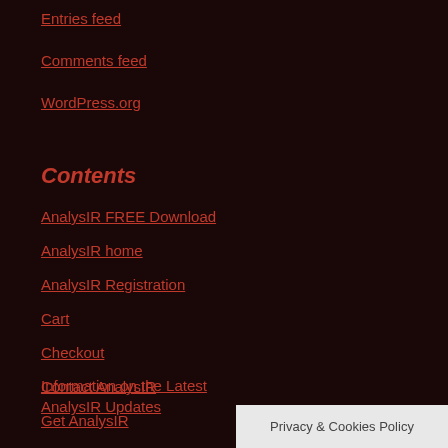Entries feed
Comments feed
WordPress.org
Contents
AnalysIR FREE Download
AnalysIR home
AnalysIR Registration
Cart
Checkout
Contact AnalysIR
Get AnalysIR
Information on the Latest AnalysIR Updates
Privacy & Cookies Policy